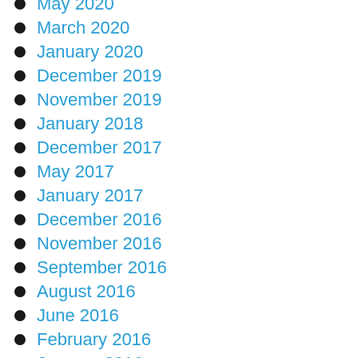May 2020
March 2020
January 2020
December 2019
November 2019
January 2018
December 2017
May 2017
January 2017
December 2016
November 2016
September 2016
August 2016
June 2016
February 2016
January 2016
June 2015